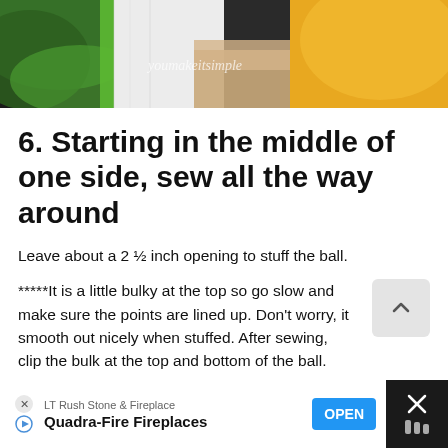[Figure (photo): Close-up photo of colorful knitted fabric (green, white, tan, yellow) with 'youmakeitsimple' watermark text in white]
6. Starting in the middle of one side, sew all the way around
Leave about a 2 ½ inch opening to stuff the ball.
*****It is a little bulky at the top so go slow and make sure the points are lined up. Don't worry, it smooth out nicely when stuffed. After sewing, clip the bulk at the top and bottom of the ball.
[Figure (other): Advertisement bar: LT Rush Stone & Fireplace - Quadra-Fire Fireplaces - OPEN button]